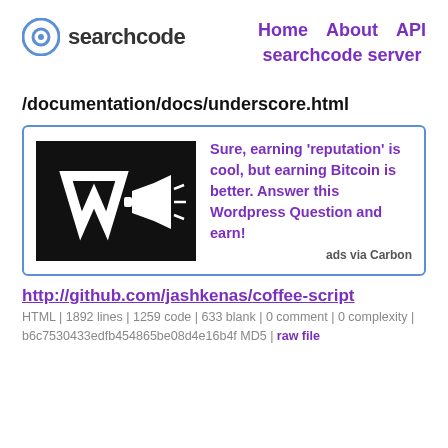searchcode | Home | About | API | searchcode server
/documentation/docs/underscore.html
[Figure (other): Advertisement box with dark background image showing stylized W logo and megaphone icon, with text: Sure, earning 'reputation' is cool, but earning Bitcoin is better. Answer this Wordpress Question and earn! ads via Carbon]
http://github.com/jashkenas/coffee-script
HTML | 1892 lines | 1259 code | 633 blank | 0 comment | 0 complexity | b6c7530433edfb454865be08d4e16b4f MD5 | raw file